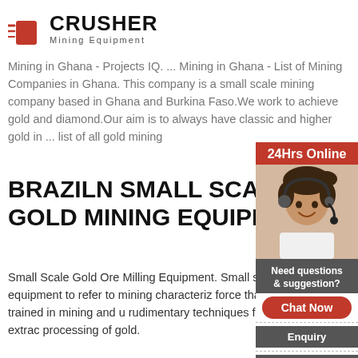[Figure (logo): Crusher Mining Equipment logo with red shopping bag icon and bold CRUSHER text]
Mining in Ghana - Projects IQ. ... Mining in Ghana - List of Mining Companies in Ghana. This company is a small scale mining company based in Ghana and Burkina Faso.We work to achieve gold and diamond.Our aim is to always have classic and higher gold in ... list of all gold mining
BRAZILN SMALL SCALE GOLD MINING EQUIPM
Small Scale Gold Ore Milling Equipment. Small s milling equipment to refer to mining characteriz force that is not formally trained in mining and u rudimentary techniques for prospecting, extrac processing of gold.
BRAZILN SMALL SCALE GOLD MINING EQUIPM
brazil small scale gold mining equipment. Brazilian Small
[Figure (photo): Sidebar with 24Hrs Online red banner, photo of woman with headset smiling, dark grey box with Need questions & suggestion? text, red Chat Now button, dashed divider, Enquiry button, dashed divider, limingjlmofen@sina.com contact]